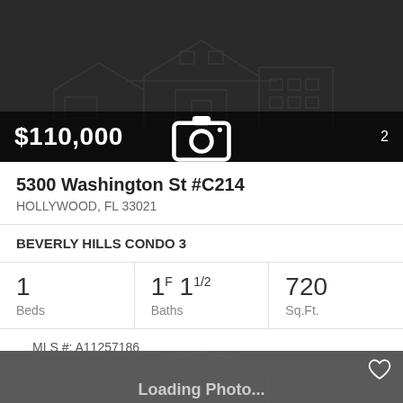[Figure (photo): Dark real estate listing card top with house watermark, price $110,000, photo count 2]
$110,000
2 [camera icon]
5300 Washington St #C214
HOLLYWOOD, FL 33021
BEVERLY HILLS CONDO 3
1 Beds
1F 11/2 Baths
720 Sq.Ft.
MLS #: A11257186
[Figure (photo): Dark grey second listing card with Loading Photo... text, heart icon, and wheelchair accessibility icon]